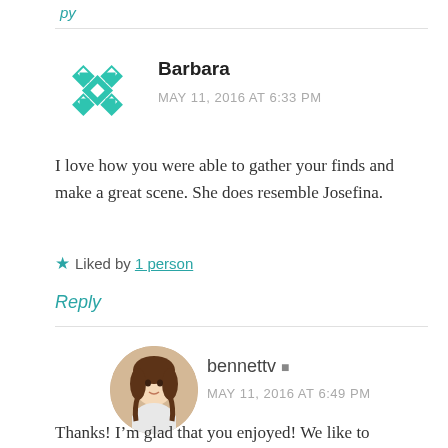Reply
Barbara
MAY 11, 2016 AT 6:33 PM
I love how you were able to gather your finds and make a great scene. She does resemble Josefina.
★ Liked by 1 person
Reply
bennettv
MAY 11, 2016 AT 6:49 PM
Thanks! I'm glad that you enjoyed! We like to